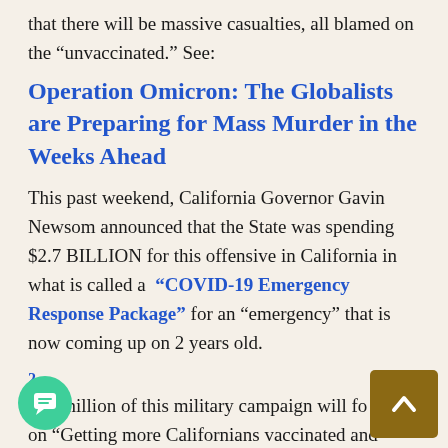that there will be massive casualties, all blamed on the “unvaccinated.” See:
Operation Omicron: The Globalists are Preparing for Mass Murder in the Weeks Ahead
This past weekend, California Governor Gavin Newsom announced that the State was spending $2.7 BILLION for this offensive in California in what is called a “COVID-19 Emergency Response Package” for an “emergency” that is now coming up on 2 years old.
2
$33 million of this military campaign will focus on “Getting more Californians vaccinated and